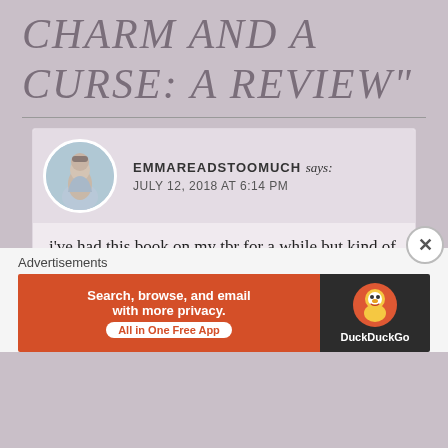CHARM AND A CURSE: A REVIEW"
EMMAREADSTOOMUCH says:
JULY 12, 2018 AT 6:14 PM
i've had this book on my tbr for a while but kind of forgot why, so i'm glad to hear you liked it!!
★ Liked by 1 person
↩ Reply
[Figure (screenshot): DuckDuckGo advertisement banner: orange section reads 'Search, browse, and email with more privacy. All in One Free App', dark section shows DuckDuckGo duck logo and brand name]
Advertisements